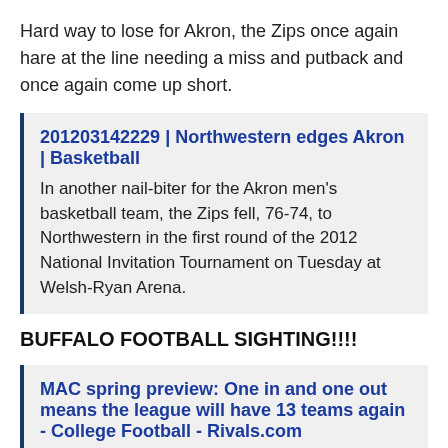Hard way to lose for Akron, the Zips once again hare at the line needing a miss and putback and once again come up short.
201203142229 | Northwestern edges Akron | Basketball
In another nail-biter for the Akron men’s basketball team, the Zips fell, 76-74, to Northwestern in the first round of the 2012 National Invitation Tournament on Tuesday at Welsh-Ryan Arena.
BUFFALO FOOTBALL SIGHTING!!!!
MAC spring preview: One in and one out means the league will have 13 teams again - College Football - Rivals.com
The offense has its moments last season, but the